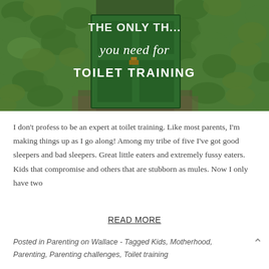[Figure (photo): Photo of a green wooden garden door surrounded by dense ivy and green foliage. Overlaid white text reads: 'THE ONLY THING you need for TOILET TRAINING']
I don't profess to be an expert at toilet training. Like most parents, I'm making things up as I go along! Among my tribe of five I've got good sleepers and bad sleepers. Great little eaters and extremely fussy eaters. Kids that compromise and others that are stubborn as mules. Now I only have two
READ MORE
Posted in Parenting on Wallace - Tagged Kids, Motherhood, Parenting, Parenting challenges, Toilet training